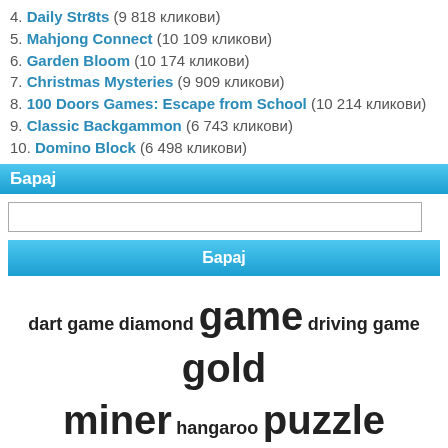4. Daily Str8ts (9 818 кликови)
5. Mahjong Connect (10 109 кликови)
6. Garden Bloom (10 174 кликови)
7. Christmas Mysteries (9 909 кликови)
8. 100 Doors Games: Escape from School (10 214 кликови)
9. Classic Backgammon (6 743 кликови)
10. Domino Block (6 498 кликови)
Барај
Барај (search button)
dart game diamond game driving game gold miner hangaroo puzzle bloons mini game tetris
[Figure (other): RSS feed icon (orange square with white wifi signal symbol)]
Насловна | Контакт
Авторски права © 2010 Игри на CRNOBELO.com. Сите игри и описи се заштитени © од страна на нивните соодветни сопственици. Сите права се задржани.
Powered by onArcade